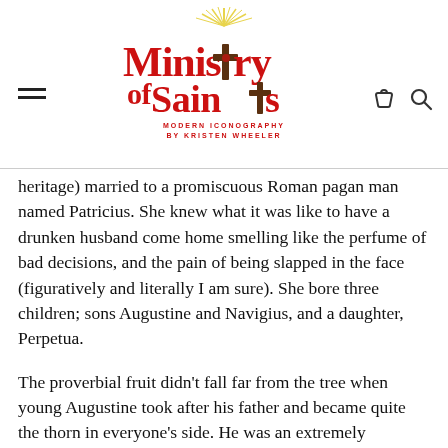Ministry of Saints — MODERN ICONOGRAPHY BY KRISTEN WHEELER
heritage) married to a promiscuous Roman pagan man named Patricius. She knew what it was like to have a drunken husband come home smelling like the perfume of bad decisions, and the pain of being slapped in the face (figuratively and literally I am sure). She bore three children; sons Augustine and Navigius, and a daughter, Perpetua.
The proverbial fruit didn't fall far from the tree when young Augustine took after his father and became quite the thorn in everyone's side. He was an extremely intelligent young man, easily moved to boredom and laziness, aiding in his bad behavior and